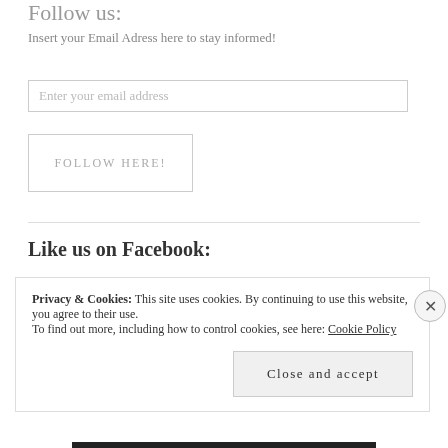Follow us:
Insert your Email Adress here to stay informed!
Enter your email address
FOLLOW HERE!
Like us on Facebook:
Privacy & Cookies: This site uses cookies. By continuing to use this website, you agree to their use.
To find out more, including how to control cookies, see here: Cookie Policy
Close and accept